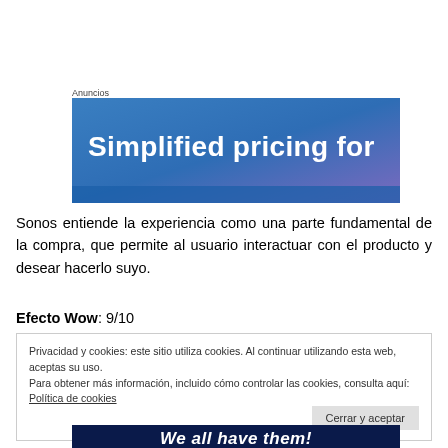Anuncios
[Figure (illustration): Ad banner with gradient background (blue to purple) showing text 'Simplified pricing for']
Sonos entiende la experiencia como una parte fundamental de la compra, que permite al usuario interactuar con el producto y desear hacerlo suyo.
Efecto Wow: 9/10
Privacidad y cookies: este sitio utiliza cookies. Al continuar utilizando esta web, aceptas su uso.
Para obtener más información, incluido cómo controlar las cookies, consulta aquí: Política de cookies
[Figure (illustration): Bottom banner with dark navy background showing 'We all have them!' in white bold italic text]